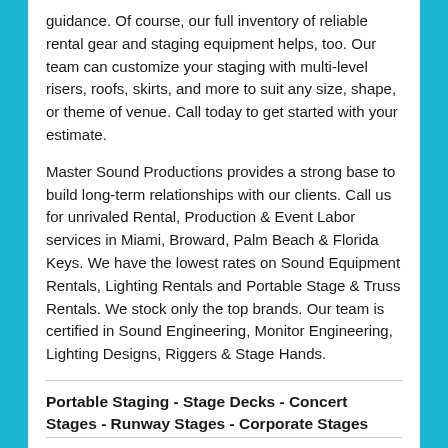guidance. Of course, our full inventory of reliable rental gear and staging equipment helps, too. Our team can customize your staging with multi-level risers, roofs, skirts, and more to suit any size, shape, or theme of venue. Call today to get started with your estimate.
Master Sound Productions provides a strong base to build long-term relationships with our clients. Call us for unrivaled Rental, Production & Event Labor services in Miami, Broward, Palm Beach & Florida Keys. We have the lowest rates on Sound Equipment Rentals, Lighting Rentals and Portable Stage & Truss Rentals. We stock only the top brands. Our team is certified in Sound Engineering, Monitor Engineering, Lighting Designs, Riggers & Stage Hands.
Portable Staging - Stage Decks - Concert Stages - Runway Stages - Corporate Stages
Tomcat Trussing